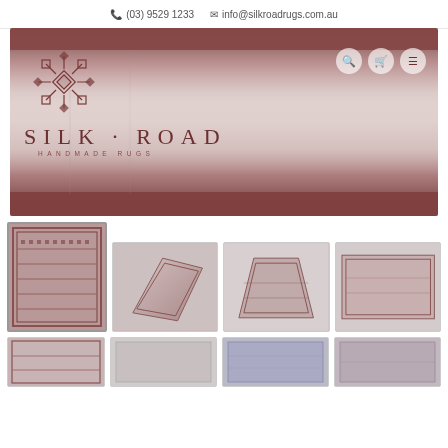(03) 9529 1233  info@silkroadrugs.com.au
[Figure (photo): Silk Road Handmade Rugs website hero banner showing an ornate rug with the company logo overlay. Logo includes a geometric diamond pattern symbol and text SILK·ROAD HANDMADE RUGS. Navigation icons (search, cart, menu) are visible on the right.]
[Figure (photo): Grid of rug product thumbnail images showing various handmade rugs in mauve/burgundy tones. Top row: selected large thumbnail of detailed rug pattern, angled view thumbnail, flat lay from above thumbnail, flat lay wide thumbnail. Bottom row: partial thumbnails of additional rugs.]